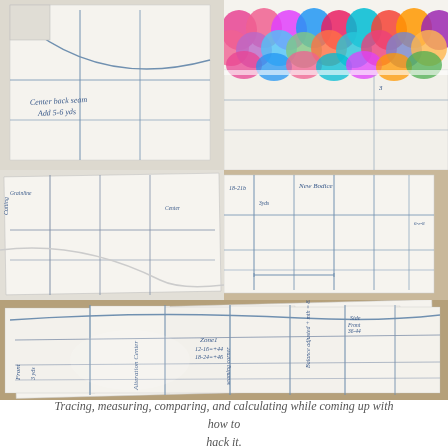[Figure (photo): Collage of 5 photos showing handwritten sewing pattern papers being traced, measured, compared, and annotated. Top-left: close-up of pattern paper with handwritten notes 'Center back seam Add 5-6 yds'. Top-right: colorful fabric with pink and blue scallop pattern on top of pattern paper. Middle-left: pattern paper with handwritten measurements and lines. Middle-right: pattern paper with handwritten measurements and grid lines. Bottom: wide shot of pattern papers laid out on a table with handwritten annotations including 'Zone1 12-16=+44 18-24=+46', 'Alteration Center', and other notes.]
Tracing, measuring, comparing, and calculating while coming up with how to hack it.